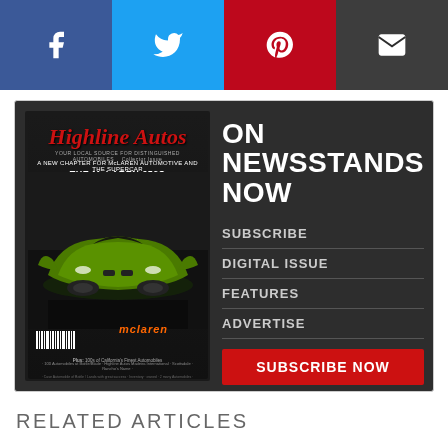[Figure (infographic): Social share buttons: Facebook (blue), Twitter (light blue), Pinterest (red), Email (dark gray)]
[Figure (infographic): Highline Autos magazine advertisement. Left side shows magazine cover with McLaren 650S. Right side shows 'ON NEWSSTANDS NOW' headline with links: SUBSCRIBE, DIGITAL ISSUE, FEATURES, ADVERTISE, and a red SUBSCRIBE NOW button.]
RELATED ARTICLES